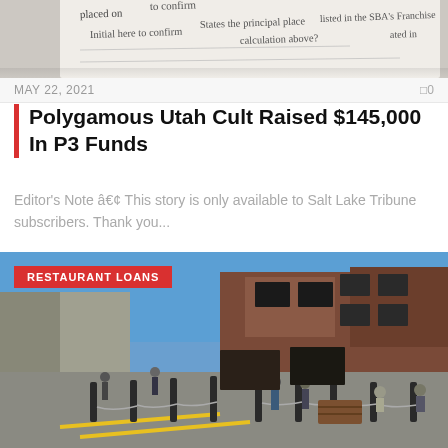[Figure (photo): Close-up of a document form with text including 'placed on', 'Initial here to confirm', 'States the principal place', 'calculation above?', and 'listed in the SBA's Franchise']
MAY 22, 2021   0
Polygamous Utah Cult Raised $145,000 In P3 Funds
Editor's Note â€¢ This story is only available to Salt Lake Tribune subscribers. Thank you...
[Figure (photo): Street-level photo of an outdoor pedestrian area with brick buildings, people walking and sitting at outdoor tables, bollards with chains, and a barrel planter. A red label badge reads RESTAURANT LOANS.]
RESTAURANT LOANS